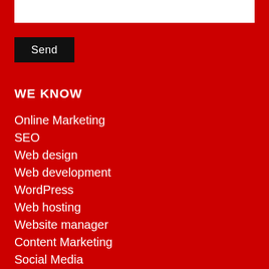[Figure (other): White input text box (form field)]
Send
WE KNOW
Online Marketing
SEO
Web design
Web development
WordPress
Web hosting
Website manager
Content Marketing
Social Media
Mobile App